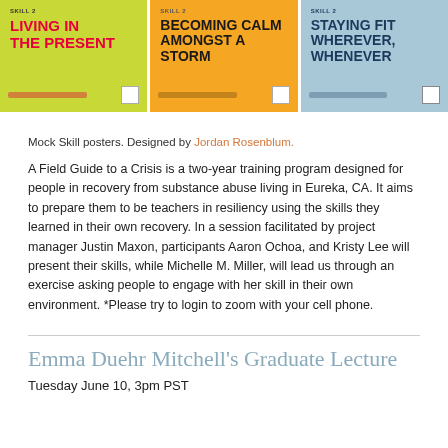[Figure (illustration): Three mock Skill posters side by side. Left poster: yellow-green background with red bold text 'LIVING IN THE PRESENT'. Center poster: orange background with dark bold text 'BECOMING CALM AMONGST A STORM'. Right poster: light blue background with dark blue bold text 'STAYING FIT WHEREVER, WHENEVER'.]
Mock Skill posters. Designed by Jordan Rosenblum.
A Field Guide to a Crisis is a two-year training program designed for people in recovery from substance abuse living in Eureka, CA. It aims to prepare them to be teachers in resiliency using the skills they learned in their own recovery. In a session facilitated by project manager Justin Maxon, participants Aaron Ochoa, and Kristy Lee will present their skills, while Michelle M. Miller, will lead us through an exercise asking people to engage with her skill in their own environment. *Please try to login to zoom with your cell phone.
Emma Duehr Mitchell’s Graduate Lecture
Tuesday June 10, 3pm PST